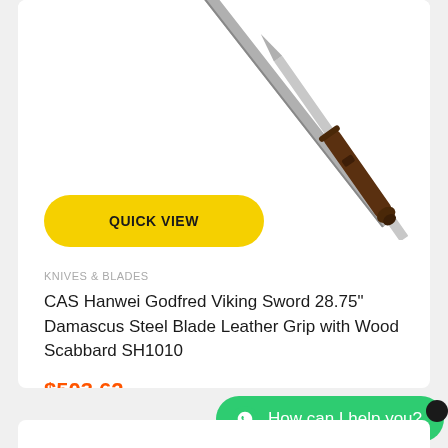[Figure (photo): Two swords/blades photographed diagonally — a brown wooden/leather grip handle with a metal blade tip visible, and a gray metal blade beside it. Only the lower half of the blades are visible, angled from upper-center to lower-right.]
QUICK VIEW
KNIVES & BLADES
CAS Hanwei Godfred Viking Sword 28.75" Damascus Steel Blade Leather Grip with Wood Scabbard SH1010
$503.62
How can I help you?